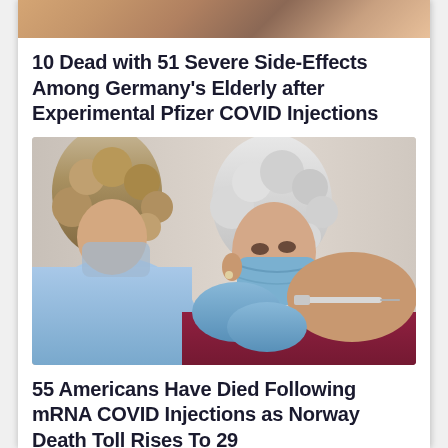[Figure (photo): Top portion of a photo, partially cropped at the top of the page]
10 Dead with 51 Severe Side-Effects Among Germany's Elderly after Experimental Pfizer COVID Injections
[Figure (photo): Healthcare worker administering a vaccine injection into the arm of an elderly woman wearing a blue face mask]
55 Americans Have Died Following mRNA COVID Injections as Norway Death Toll Rises To 29